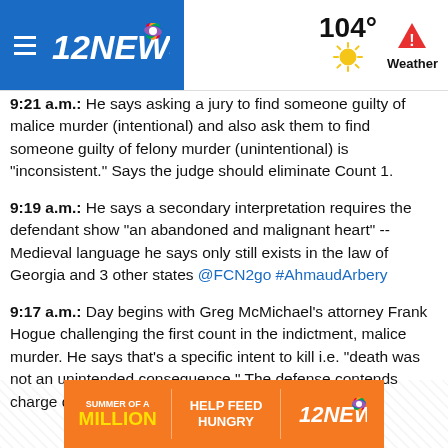12NEWS — 104° Weather
9:21 a.m.: He says asking a jury to find someone guilty of malice murder (intentional) and also ask them to find someone guilty of felony murder (unintentional) is "inconsistent." Says the judge should eliminate Count 1.
9:19 a.m.: He says a secondary interpretation requires the defendant show "an abandoned and malignant heart" -- Medieval language he says only still exists in the law of Georgia and 3 other states @FCN2go #AhmaudArbery
9:17 a.m.: Day begins with Greg McMichael's attorney Frank Hogue challenging the first count in the indictment, malice murder. He says that's a specific intent to kill i.e. "death was not an unintended consequence." The defense contends charge does not apply.
[Figure (other): Orange advertisement banner for 12NEWS Summer of a Million promotion — Help Feed Hungry]